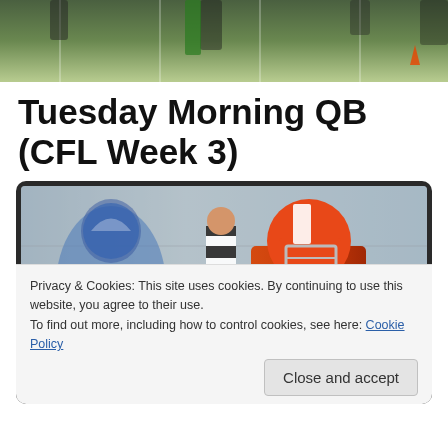[Figure (photo): Top portion of a CFL football game photo showing players on the field with green field markings visible]
Tuesday Morning QB (CFL Week 3)
[Figure (photo): CFL player number 84 in orange BC Lions uniform carrying a football, with a referee in black and white stripes in background]
Privacy & Cookies: This site uses cookies. By continuing to use this website, you agree to their use.
To find out more, including how to control cookies, see here: Cookie Policy
Close and accept